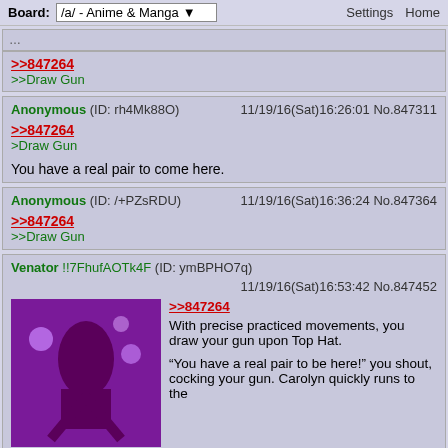Board: /a/ - Anime & Manga | Settings Home
... (partial previous post) >>847264 >>Draw Gun
Anonymous (ID: rh4Mk88O) 11/19/16(Sat)16:26:01 No.847311
>>847264
>Draw Gun
You have a real pair to come here.
Anonymous (ID: /+PZsRDU) 11/19/16(Sat)16:36:24 No.847364
>>847264
>>Draw Gun
Venator !!7FhufAOTk4F (ID: ymBPHO7q) 11/19/16(Sat)16:53:42 No.847452
>>847264
With precise practiced movements, you draw your gun upon Top Hat.
"You have a real pair to be here!" you shout, cocking your gun. Carolyn quickly runs to the